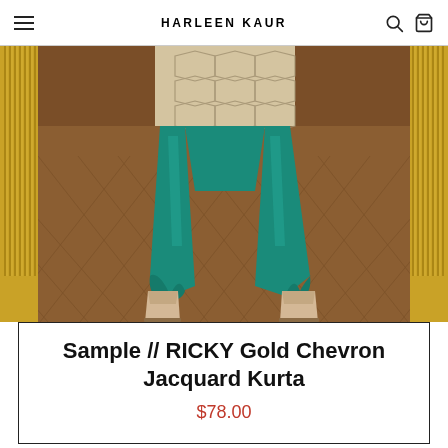HARLEEN KAUR
[Figure (photo): Fashion photo showing the lower body of a model wearing teal/green silk churidar pants and beige suede ankle boots, with a gold chevron jacquard kurta top partially visible. Background features gold/brass vertical fluted columns and a herringbone parquet floor.]
Sample // RICKY Gold Chevron Jacquard Kurta
$78.00